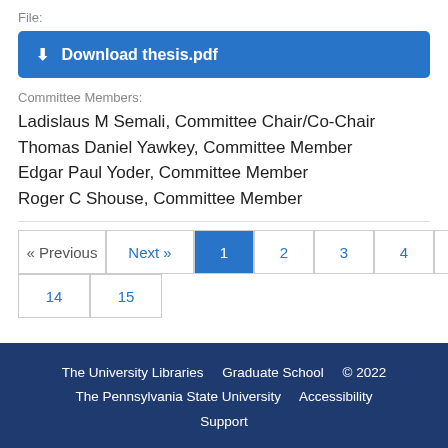File:
Download thesis.pdf
Committee Members:
Ladislaus M Semali, Committee Chair/Co-Chair
Thomas Daniel Yawkey, Committee Member
Edgar Paul Yoder, Committee Member
Roger C Shouse, Committee Member
« Previous  Next »  1  2  3  4  5  ...  14  15
The University Libraries   Graduate School   © 2022
The Pennsylvania State University   Accessibility
Support